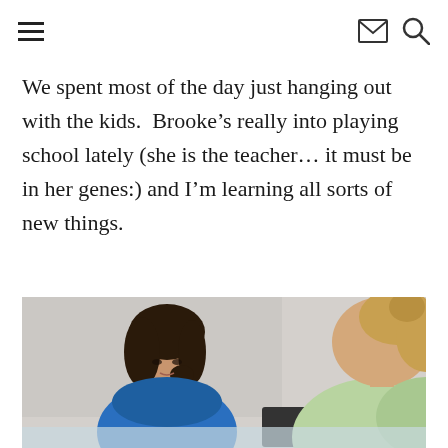Navigation header with hamburger menu, mail icon, and search icon
We spent most of the day just hanging out with the kids.  Brooke’s really into playing school lately (she is the teacher… it must be in her genes:) and I’m learning all sorts of new things.
[Figure (photo): Two women sitting together, one with dark hair wearing a blue top looking down, another with blonde hair in a bun wearing a light green top, appearing to be engaged in an activity together, possibly playing school. Photo is partially cut off at the bottom.]